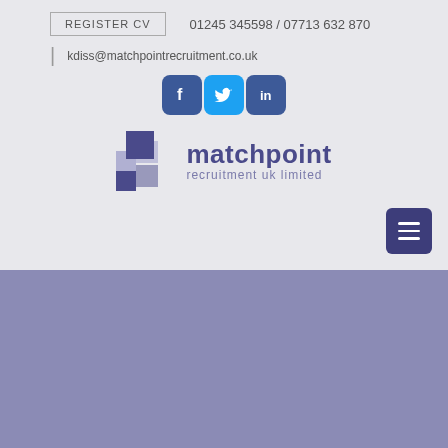REGISTER CV  |  01245 345598 / 07713 632 870  |  kdiss@matchpointrecruitment.co.uk
[Figure (logo): Matchpoint Recruitment UK Limited logo with social media icons (Facebook, Twitter, LinkedIn) and square grid graphic]
[Figure (other): Purple hamburger menu button in bottom right of header area]
[Figure (other): Solid purple/periwinkle colored bottom section banner]